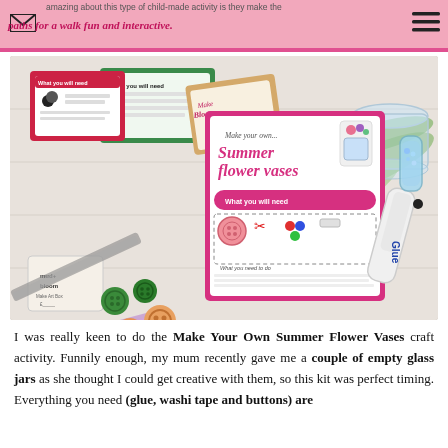amazing about this type of child-made activity is they make the paths for a walk fun and interactive.
[Figure (photo): Flat lay photo of craft activity cards and materials on a white wooden surface. Visible items include 'Make Your Own Summer Flower Vases' activity card with pink border, buttons in various colors (green, red, orange, black, yellow), a glue pen, washi tape, scissors, and other mud+bloom craft kit cards.]
I was really keen to do the Make Your Own Summer Flower Vases craft activity. Funnily enough, my mum recently gave me a couple of empty glass jars as she thought I could get creative with them, so this kit was perfect timing. Everything you need (glue, washi tape and buttons) are